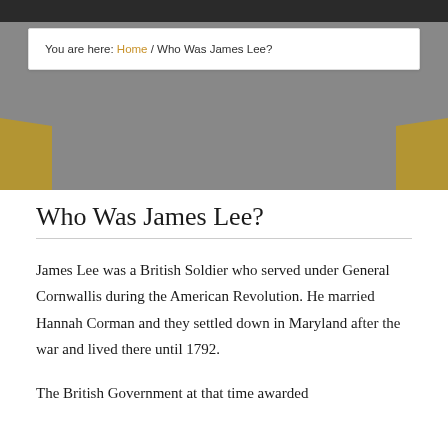You are here: Home / Who Was James Lee?
Who Was James Lee?
James Lee was a British Soldier who served under General Cornwallis during the American Revolution. He married Hannah Corman and they settled down in Maryland after the war and lived there until 1792.
The British Government at that time awarded